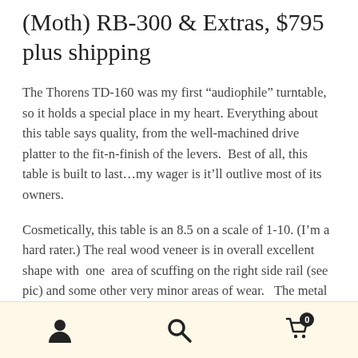(Moth) RB-300 & Extras, $795 plus shipping
The Thorens TD-160 was my first “audiophile” turntable, so it holds a special place in my heart. Everything about this table says quality, from the well-machined drive platter to the fit-n-finish of the levers.  Best of all, this table is built to last…my wager is it’ll outlive most of its owners.
Cosmetically, this table is an 8.5 on a scale of 1-10. (I’m a hard rater.) The real wood veneer is in overall excellent shape with  one  area of scuffing on the right side rail (see pic) and some other very minor areas of wear.   The metal portion of the plinth is in outstanding condition, with no
[person icon] [search icon] [cart icon with badge 0]